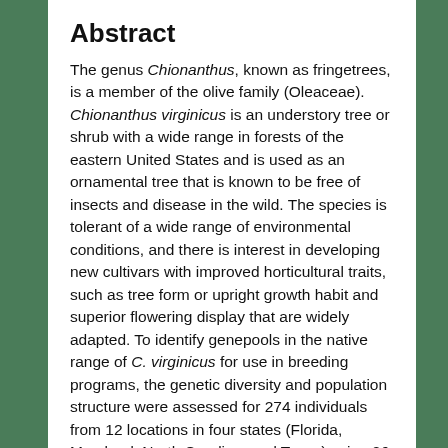Abstract
The genus Chionanthus, known as fringetrees, is a member of the olive family (Oleaceae). Chionanthus virginicus is an understory tree or shrub with a wide range in forests of the eastern United States and is used as an ornamental tree that is known to be free of insects and disease in the wild. The species is tolerant of a wide range of environmental conditions, and there is interest in developing new cultivars with improved horticultural traits, such as tree form or upright growth habit and superior flowering display that are widely adapted. To identify genepools in the native range of C. virginicus for use in breeding programs, the genetic diversity and population structure were assessed for 274 individuals from 12 locations in four states (Florida, Maryland, North Carolina, and Texas) using 26 simple sequence repeats (SSRs). An average of 12.54 alleles/locus were detected, allelic